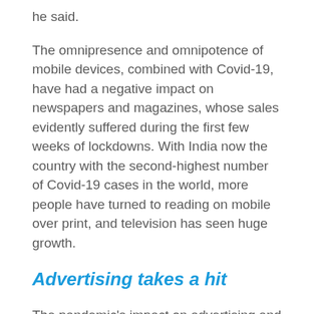he said.
The omnipresence and omnipotence of mobile devices, combined with Covid-19, have had a negative impact on newspapers and magazines, whose sales evidently suffered during the first few weeks of lockdowns. With India now the country with the second-highest number of Covid-19 cases in the world, more people have turned to reading on mobile over print, and television has seen huge growth.
Advertising takes a hit
The pandemic’s impact on advertising and degrowth has been enormous. “In India, it’s